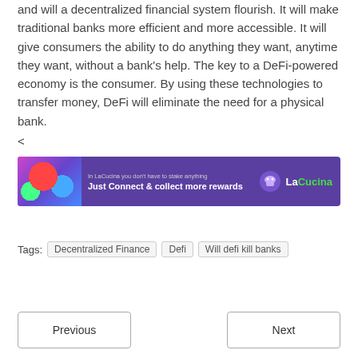and will a decentralized financial system flourish. It will make traditional banks more efficient and more accessible. It will give consumers the ability to do anything they want, anytime they want, without a bank's help. The key to a DeFi-powered economy is the consumer. By using these technologies to transfer money, DeFi will eliminate the need for a physical bank.
<
[Figure (other): Advertisement banner for LaCucina platform with purple background. Left side has colorful abstract graphics. Center text reads 'In LaCucina you don't have to stake anything' and 'Just Connect & collect more rewards'. Right side shows LaCucina logo with mushroom icon.]
Tags:  Decentralized Finance  Defi  Will defi kill banks
Previous
Next